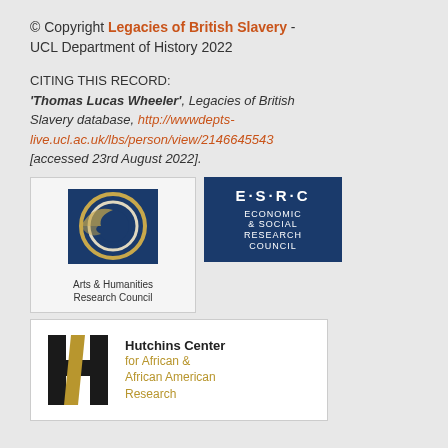© Copyright Legacies of British Slavery - UCL Department of History 2022
CITING THIS RECORD: 'Thomas Lucas Wheeler', Legacies of British Slavery database, http://wwwdepts-live.ucl.ac.uk/lbs/person/view/2146645543 [accessed 23rd August 2022].
[Figure (logo): Arts & Humanities Research Council logo with circular blue and gold design]
[Figure (logo): ESRC Economic & Social Research Council logo on dark blue background]
[Figure (logo): Hutchins Center for African & African American Research logo with black H letter and gold slash]